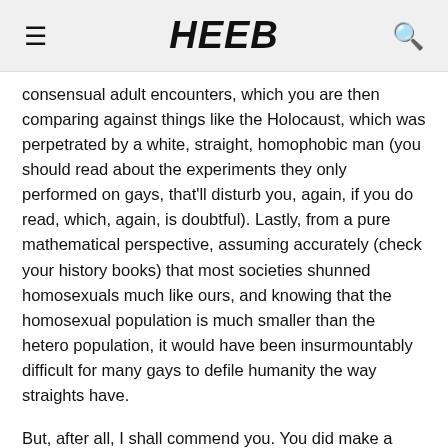HEEB
consensual adult encounters, which you are then comparing against things like the Holocaust, which was perpetrated by a white, straight, homophobic man (you should read about the experiments they only performed on gays, that'll disturb you, again, if you do read, which, again, is doubtful). Lastly, from a pure mathematical perspective, assuming accurately (check your history books) that most societies shunned homosexuals much like ours, and knowing that the homosexual population is much smaller than the hetero population, it would have been insurmountably difficult for many gays to defile humanity the way straights have.
But, after all, I shall commend you. You did make a single accurate statement in your post: the US is falling apart at the seams. And I shall congratulate you for being a very idealistic example of exactly why that is happening. If it weren't for morons like you, who think freedom of speech=running your mouth like your speaking US dogma even though you can't say anything truthfully.